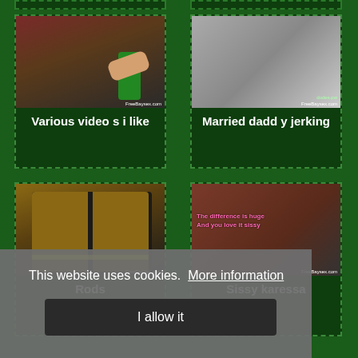[Figure (screenshot): Website screenshot showing video thumbnails on green background with cookie consent overlay. Two rows of video cards visible, each with thumbnail image and title. Cookie banner reads 'This website uses cookies. More information' with 'I allow it' button.]
Various videos i like
Married daddy jerking
Rods
Sissy karessa
This website uses cookies.  More information
I allow it